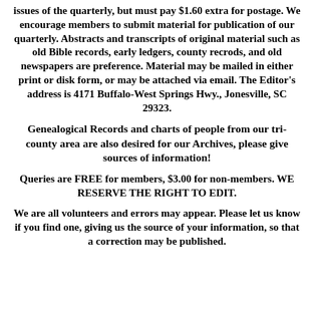issues of the quarterly, but must pay $1.60 extra for postage.  We encourage members to submit material for publication of our quarterly.  Abstracts and transcripts of original material such as old Bible records, early ledgers, county recrods, and old newspapers are preference.  Material may be mailed in either print or disk form, or may be attached via email. The Editor's address is 4171 Buffalo-West Springs Hwy., Jonesville, SC 29323.
Genealogical Records and charts of people from our tri-county area are also desired for our Archives, please give sources of information!
Queries are FREE for members, $3.00 for non-members. WE RESERVE THE RIGHT TO EDIT.
We are all volunteers and errors may appear. Please let us know if you find one, giving us the source of your information, so that a correction may be published.